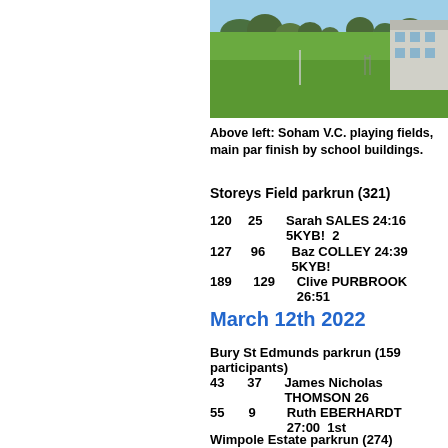[Figure (photo): Soham V.C. playing fields, main parkrun area with green grass and school buildings in the background under a blue sky]
Above left: Soham V.C. playing fields, main par finish by school buildings.
Storeys Field parkrun (321)
120   25   Sarah SALES 24:16  5KYB!  2
127   96   Baz COLLEY 24:39  5KYB!
189   129   Clive PURBROOK 26:51
March 12th 2022
Bury St Edmunds parkrun (159 participants)
43   37   James Nicholas THOMSON 26
55   9   Ruth EBERHARDT 27:00  1st
Wimpole Estate parkrun (274)